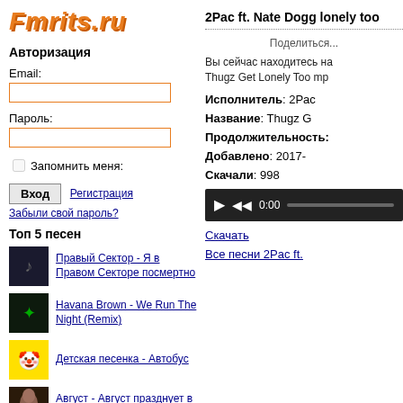[Figure (logo): Fmrits.ru logo in orange italic bold font]
Авторизация
Email:
Пароль:
Запомнить меня:
Вход  Регистрация
Забыли свой пароль?
Топ 5 песен
Правый Сектор - Я в Правом Секторе посмертно
Havana Brown - We Run The Night (Remix)
Детская песенка - Автобус
Август - Август празднует в силу вошедшее
2Pac ft. Nate Dogg lonely too
Поделиться...
Вы сейчас находитесь на странице Thugz Get Lonely Too mp
Исполнитель: 2Pac
Название: Thugz G
Продолжительность:
Добавлено: 2017-
Скачали: 998
[Figure (screenshot): Audio player bar with play, rewind buttons and time 0:00]
Скачать
Все песни 2Pac ft.